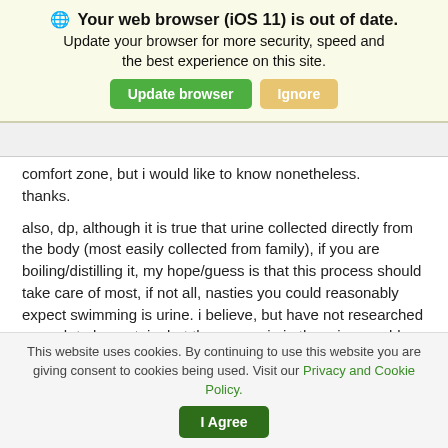Your web browser (iOS 11) is out of date. Update your browser for more security, speed and the best experience on this site.
comfort zone, but i would like to know nonetheless. thanks.
also, dp, although it is true that urine collected directly from the body (most easily collected from family), if you are boiling/distilling it, my hope/guess is that this process should take care of most, if not all, nasties you could reasonably expect swimming is urine. i believe, but have not researched enough to be certain, but the ammonia in the urine would distill with the water, so
This website uses cookies. By continuing to use this website you are giving consent to cookies being used. Visit our Privacy and Cookie Policy.